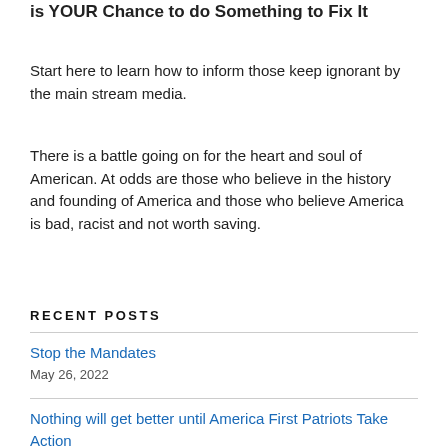is YOUR Chance to do Something to Fix It
Start here to learn how to inform those keep ignorant by the main stream media.
There is a battle going on for the heart and soul of American. At odds are those who believe in the history and founding of America and those who believe America is bad, racist and not worth saving.
RECENT POSTS
Stop the Mandates
May 26, 2022
Nothing will get better until America First Patriots Take Action